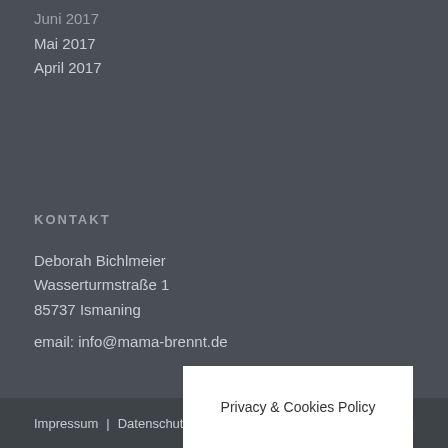Juni 2017
Mai 2017
April 2017
KONTAKT
Deborah Bichlmeier
Wasserturmstraße 1
85737 Ismaning
email: info@mama-brennt.de
Impressum | Datenschutz | Privacy & Cookies Policy